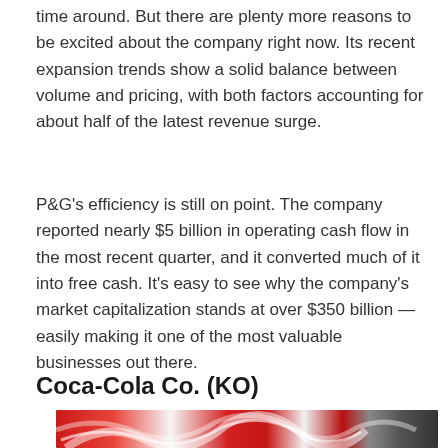time around. But there are plenty more reasons to be excited about the company right now. Its recent expansion trends show a solid balance between volume and pricing, with both factors accounting for about half of the latest revenue surge.
P&G's efficiency is still on point. The company reported nearly $5 billion in operating cash flow in the most recent quarter, and it converted much of it into free cash. It's easy to see why the company's market capitalization stands at over $350 billion — easily making it one of the most valuable businesses out there.
Coca-Cola Co. (KO)
[Figure (photo): Partial image of Coca-Cola branded item with red and white swirling design, cropped at bottom of page]